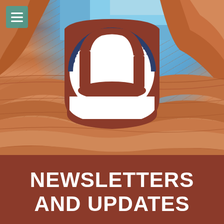[Figure (logo): United Utah Party circular logo with arch rock silhouette in brown on white background with dark navy arc text reading UNITED UTAH PARTY, set against Utah canyon landscape background with blue sky]
NEWSLETTERS AND UPDATES